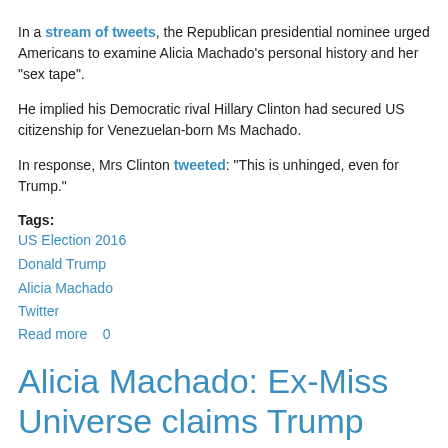In a stream of tweets, the Republican presidential nominee urged Americans to examine Alicia Machado's personal history and her "sex tape".
He implied his Democratic rival Hillary Clinton had secured US citizenship for Venezuelan-born Ms Machado.
In response, Mrs Clinton tweeted: "This is unhinged, even for Trump."
Tags:
US Election 2016
Donald Trump
Alicia Machado
Twitter
Read more   0
Alicia Machado: Ex-Miss Universe claims Trump called her 'Miss Piggy'